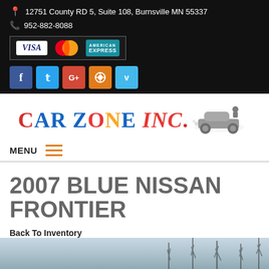12751 County RD 5, Suite 108, Burnsville MN 55337
952-882-8088
[Figure (logo): Payment icons: Visa, Mastercard, American Express]
[Figure (logo): Social media buttons: Facebook, Twitter, Google+, RSS, Vimeo]
[Figure (logo): Car Zone Inc. logo with vintage car illustration]
MENU
2007 BLUE NISSAN FRONTIER
Back To Inventory
[Figure (photo): Bottom portion of a winter outdoor photo with bare trees against a light sky]